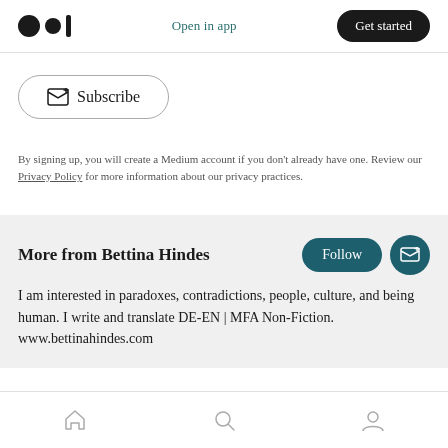Open in app | Get started
Subscribe
By signing up, you will create a Medium account if you don't already have one. Review our Privacy Policy for more information about our privacy practices.
More from Bettina Hindes
I am interested in paradoxes, contradictions, people, culture, and being human. I write and translate DE-EN | MFA Non-Fiction. www.bettinahindes.com
Home | Search | Profile